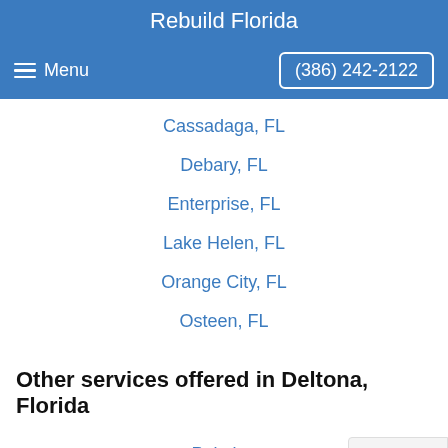Rebuild Florida
Menu  (386) 242-2122
Cassadaga, FL
Debary, FL
Enterprise, FL
Lake Helen, FL
Orange City, FL
Osteen, FL
Other services offered in Deltona, Florida
Painting
House Painting